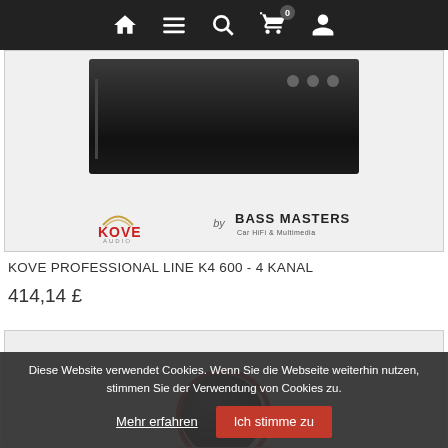Navigation bar with home, menu, search, cart (0), user icons
[Figure (photo): Product image showing KOVE audio amplifier (dark rectangular unit) with KOVE AUDIO and BASS MASTERS Car HiFi & Multimedia logos below]
KOVE PROFESSIONAL LINE K4 600 - 4 KANAL
414,14 £
[Figure (photo): Partial product image showing a black round knob/speaker component with red accent ring]
Diese Website verwendet Cookies. Wenn Sie die Webseite weiterhin nutzen, stimmen Sie der Verwendung von Cookies zu.
Mehr erfahren
Ich stimme zu